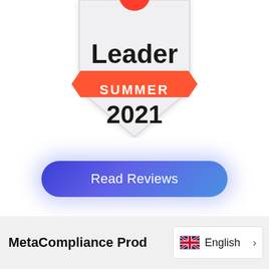[Figure (logo): G2 Leader Summer 2021 badge — a shield shape in light gray with a red G2 logo at the top, bold text 'Leader', an orange/red ribbon banner with white text 'SUMMER', and bold text '2021' below.]
[Figure (other): A pill-shaped button with a blue-to-purple gradient and a blue glow effect, containing white text 'Read Reviews'.]
MetaCompliance Prod
English